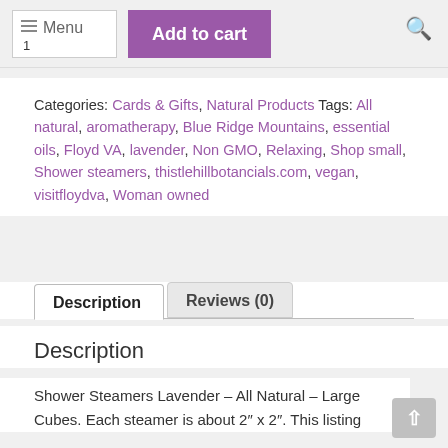Menu  Add to cart
Categories: Cards & Gifts, Natural Products Tags: All natural, aromatherapy, Blue Ridge Mountains, essential oils, Floyd VA, lavender, Non GMO, Relaxing, Shop small, Shower steamers, thistlehillbotancials.com, vegan, visitfloydva, Woman owned
Description | Reviews (0)
Description
Shower Steamers Lavender – All Natural – Large Cubes. Each steamer is about 2″ x 2″. This listing